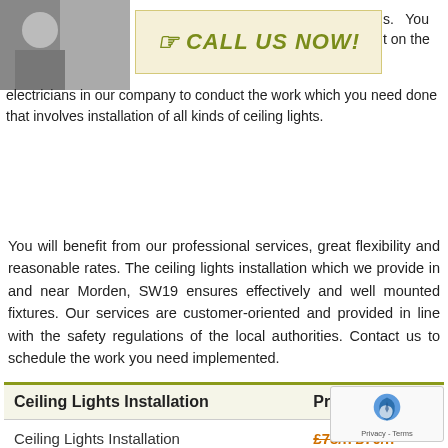[Figure (photo): Photo of an electrician or person working, top left corner]
[Figure (infographic): Call Us Now banner with hand pointing icon, olive/yellow-green text on cream background]
s. You t on the electricians in our company to conduct the work which you need done that involves installation of all kinds of ceiling lights.
You will benefit from our professional services, great flexibility and reasonable rates. The ceiling lights installation which we provide in and near Morden, SW19 ensures effectively and well mounted fixtures. Our services are customer-oriented and provided in line with the safety regulations of the local authorities. Contact us to schedule the work you need implemented.
| Ceiling Lights Installation | Prices |
| --- | --- |
| Ceiling Lights Installation | £78/h £70/h |
| Electric Installations | £78/h £70/h |
| Lighting Repair | £78/h £70/h |
| Fault Finding | £78/h £70/h |